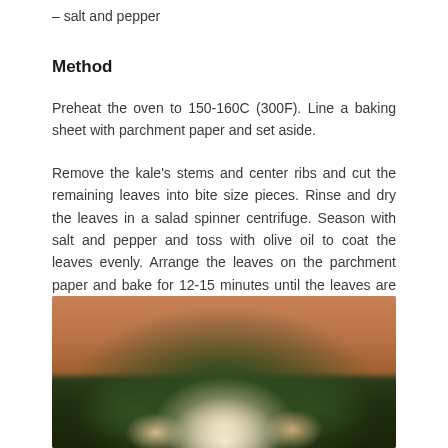– salt and pepper
Method
Preheat the oven to 150-160C (300F). Line a baking sheet with parchment paper and set aside.
Remove the kale's stems and center ribs and cut the remaining leaves into bite size pieces. Rinse and dry the leaves in a salad spinner centrifuge. Season with salt and pepper and toss with olive oil to coat the leaves evenly. Arrange the leaves on the parchment paper and bake for 12-15 minutes until the leaves are crisp and light golden brown.
[Figure (photo): Photo of kale chips in a white bowl, with dark green kale leaves visible against a warm brown/peach background]